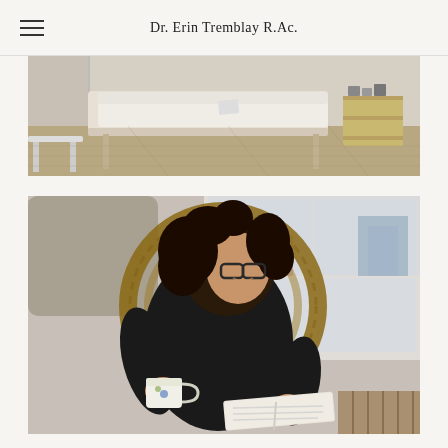Dr. Erin Tremblay R.Ac.
[Figure (photo): Interior photo of an acupuncture/massage treatment room with a white treatment table, warm wood floors, and shelving with supplies in the background.]
[Figure (photo): Photo of a woman with curly dark hair and glasses, wearing a black outfit, sitting in a wicker peacock chair holding a mug and reading a book, with a window view of city buildings behind her.]